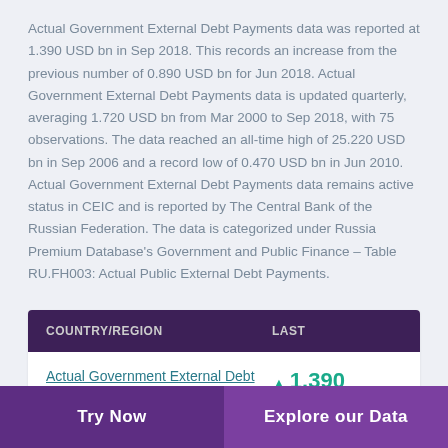Actual Government External Debt Payments data was reported at 1.390 USD bn in Sep 2018. This records an increase from the previous number of 0.890 USD bn for Jun 2018. Actual Government External Debt Payments data is updated quarterly, averaging 1.720 USD bn from Mar 2000 to Sep 2018, with 75 observations. The data reached an all-time high of 25.220 USD bn in Sep 2006 and a record low of 0.470 USD bn in Jun 2010. Actual Government External Debt Payments data remains active status in CEIC and is reported by The Central Bank of the Russian Federation. The data is categorized under Russia Premium Database's Government and Public Finance – Table RU.FH003: Actual Public External Debt Payments.
| COUNTRY/REGION | LAST |
| --- | --- |
| Actual Government External Debt Payments (USD bn) | ▲ 1.390
Sep 2018 |
Try Now
Explore our Data